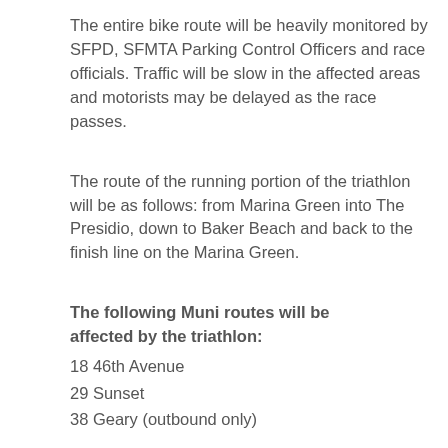The entire bike route will be heavily monitored by SFPD, SFMTA Parking Control Officers and race officials. Traffic will be slow in the affected areas and motorists may be delayed as the race passes.
The route of the running portion of the triathlon will be as follows: from Marina Green into The Presidio, down to Baker Beach and back to the finish line on the Marina Green.
The following Muni routes will be affected by the triathlon:
18 46th Avenue
29 Sunset
38 Geary (outbound only)
Statuto Race
On Sunday the 94th annual Statuto Race will begin at 9 a.m. in North Beach. This